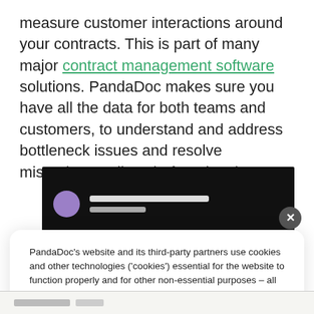measure customer interactions around your contracts. This is part of many major contract management software solutions. PandaDoc makes sure you have all the data for both teams and customers, to understand and address bottleneck issues and resolve misunderstandings before they happen.
[Figure (screenshot): Screenshot of a dark-themed web application interface showing a user profile row with a purple avatar circle and two redacted text lines, with a partial light-colored content area below.]
PandaDoc's website and its third-party partners use cookies and other technologies ('cookies') essential for the website to function properly and for other non-essential purposes – all as described in our attached Cookie Policy. You can permit our use of cookies by clicking Accept. By remaining on this website you indicate your consent. Cookie Policy